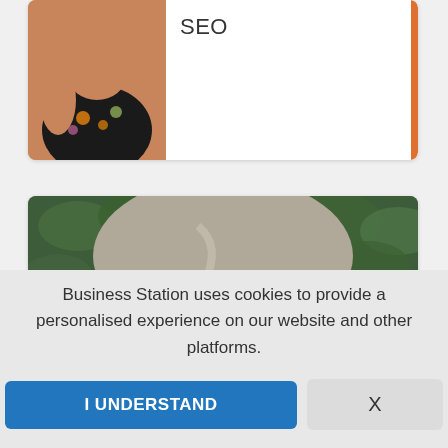SEO
[Figure (photo): Partial photo of a woman wearing a floral black dress, cropped at chest level, displayed in a card with an orange right border]
[Figure (photo): Close-up photo of a woman with blonde and grey hair wearing rectangular glasses, photographed outdoors in front of green foliage]
Business Station uses cookies to provide a personalised experience on our website and other platforms.
I UNDERSTAND
X